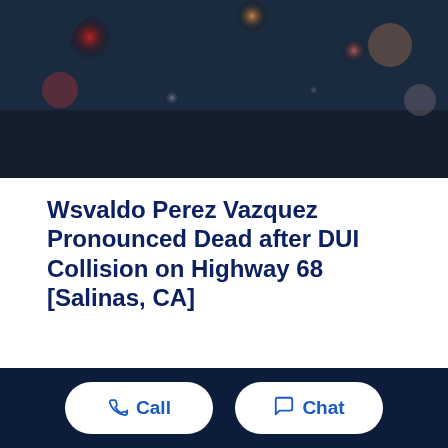[Figure (photo): Blurred bokeh photo of police car lights at night — dark blue background with red and orange blurred circular lights]
Wsvaldo Perez Vazquez Pronounced Dead after DUI Collision on Highway 68 [Salinas, CA]
Take the Next Step
Call  Chat